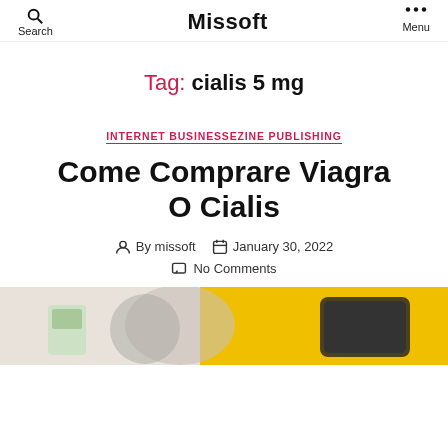Search | Missoft | Menu
Tag: cialis 5 mg
INTERNET BUSINESSEZINE PUBLISHING
Come Comprare Viagra O Cialis
By missoft   January 30, 2022
No Comments
[Figure (photo): Photo showing a person with a medicine box and yellow background element]